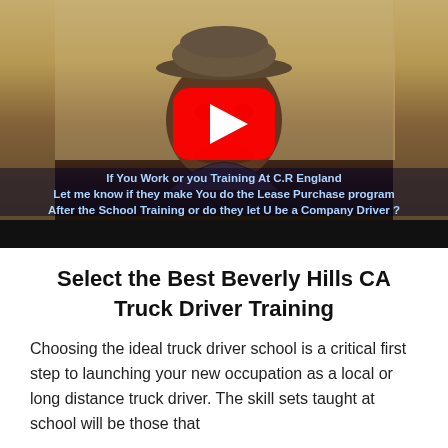[Figure (screenshot): YouTube video thumbnail showing a man wearing a brown hat with a YouTube play button overlay. Text at bottom reads: 'If You Work or you Training At C.R England Let me know if they make You do the Lease Purchase program After the School Training or do they let U be a Company Driver ?']
Select the Best Beverly Hills CA Truck Driver Training
Choosing the ideal truck driver school is a critical first step to launching your new occupation as a local or long distance truck driver. The skill sets taught at school will be those that